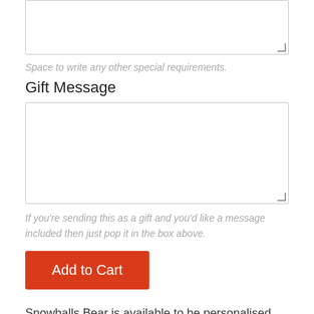[Figure (other): A textarea input box with resize handle in bottom-right corner, partially visible at top of page]
Space to write any other special requirements.
Gift Message
[Figure (other): A large textarea input box for gift message with resize handle in bottom-right corner]
If you're sending this as a gift and you'd like a message included then just pop it in the box above.
[Figure (other): Orange/red 'Add to Cart' button]
Snowballs Bear is available to be personalised with your